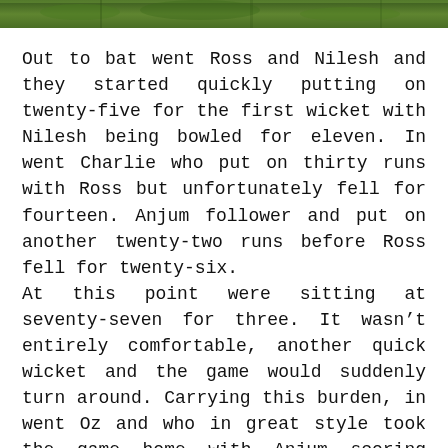[Figure (photo): Partial photograph strip showing what appears to be a cricket or outdoor sports scene on grass]
Out to bat went Ross and Nilesh and they started quickly putting on twenty-five for the first wicket with Nilesh being bowled for eleven. In went Charlie who put on thirty runs with Ross but unfortunately fell for fourteen. Anjum follower and put on another twenty-two runs before Ross fell for twenty-six.
At this point were sitting at seventy-seven for three. It wasn't entirely comfortable, another quick wicket and the game would suddenly turn around. Carrying this burden, in went Oz and who in great style took the game home with Anjum scoring forty-six not out and Oz scoring twenty not out.
A great game, a famous win – our first senior match